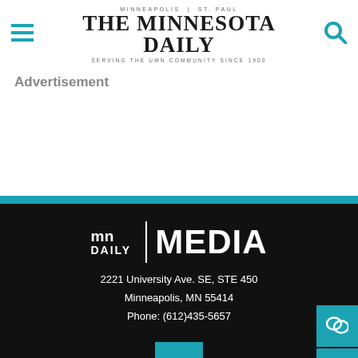MINNEAPOLIS | ST. PAUL
THE MINNESOTA DAILY
SERVING THE UMN COMMUNITY SINCE 1900
Advertisement
[Figure (logo): MN Daily Media footer logo with address: 2221 University Ave. SE, STE 450, Minneapolis, MN 55414, Phone: (612)435-5657]